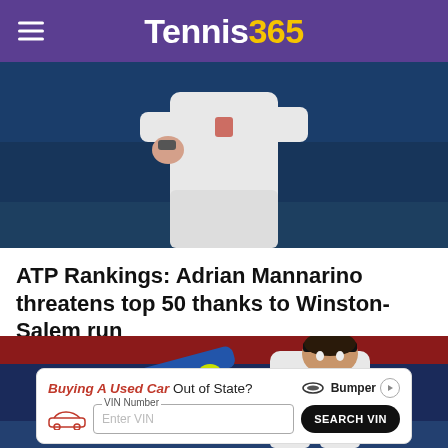Tennis365
[Figure (photo): Tennis player in white outfit on court, upper body cropped, against dark blue background]
ATP Rankings: Adrian Mannarino threatens top 50 thanks to Winston-Salem run
[Figure (photo): Tennis player hitting backhand shot with racket, wearing white shirt and black headband, yellow ball visible, red and blue court background]
Buying A Used Car Out of State? [Bumper ad] VIN Number - Enter VIN - SEARCH VIN